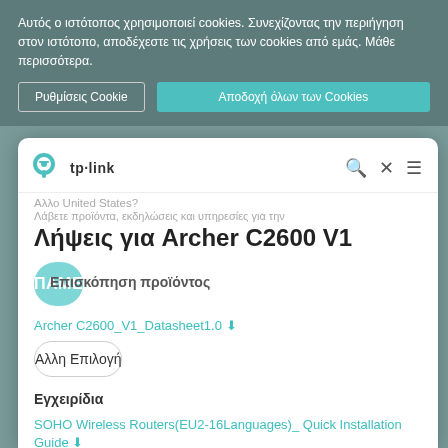Αυτός ο ιστότοπος χρησιμοποιεί cookies. Συνεχίζοντας την περιήγηση στον ιστότοπο, αποδέχεστε τις χρήσεις των cookies από εμάς. Μάθε περισσότερα.
Ρυθμίσεις Cookie
Αποδοχή όλων των Cookies
[Figure (logo): TP-Link logo with teal plug icon and tp-link text]
Αλλο United States?
Λάβετε προϊόντα, εκδηλώσεις και υπηρεσίες για την
Λήψεις για Archer C2600 V1
ΠΑΜΕ
Επισκόπηση προϊόντος
Archer C2600_V1_Datasheet1.0 ⬇
Αλλη Επιλογή
Εγχειρίδια
SOHO Wireless Routers(EU2-16Languages)_ Quick Installation Guide ⬇
SOHO Router(EU1-12Languages)_Quick Installation Guide ⬇
Archer C2600(UN)_V1_UG ⬇